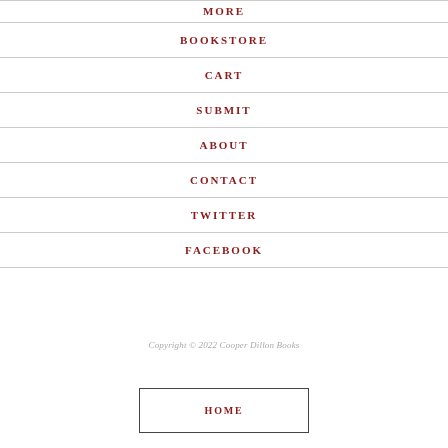MORE
BOOKSTORE
CART
SUBMIT
ABOUT
CONTACT
TWITTER
FACEBOOK
Copyright © 2022 Cooper Dillon Books
HOME